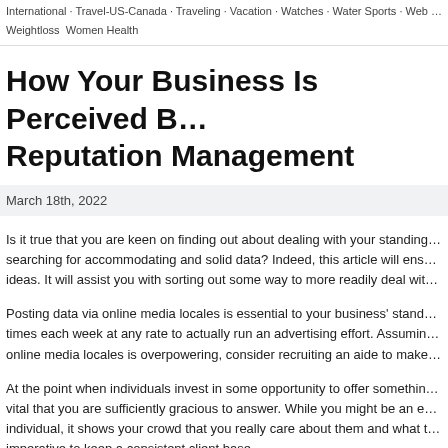International · Travel-US-Canada · Traveling · Vacation · Watches · Water Sports · Web … Weightloss · Women Health
How Your Business Is Perceived B… Reputation Management
March 18th, 2022
Is it true that you are keen on finding out about dealing with your standing… searching for accommodating and solid data? Indeed, this article will ens… ideas. It will assist you with sorting out some way to more readily deal wit…
Posting data via online media locales is essential to your business' stand… times each week at any rate to actually run an advertising effort. Assumin… online media locales is overpowering, consider recruiting an aide to make…
At the point when individuals invest in some opportunity to offer somethin… vital that you are sufficiently gracious to answer. While you might be an e… individual, it shows your crowd that you really care about them and what t… imperative to keep a consistent client base.
At the point when you talk with your crowd, ensure that you do as such in…